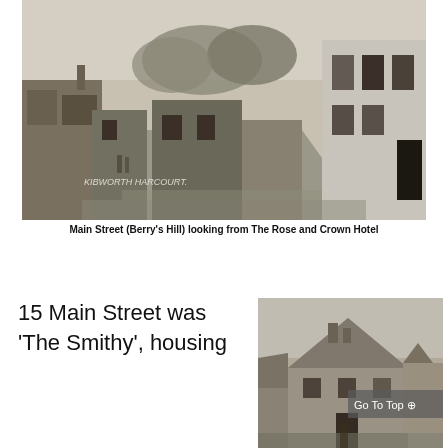[Figure (photo): Black and white historical photograph of a village main street (Kibworth Harcourt) showing buildings on both sides, a dirt road, with text overlay reading 'KIBWORTH HARCOURT']
Main Street (Berry's Hill) looking from The Rose and Crown Hotel
15 Main Street was 'The Smithy', housing
[Figure (photo): Black and white historical photograph of a stone building with thatched/tiled roof, with a 'Go To Top' navigation button overlaid]